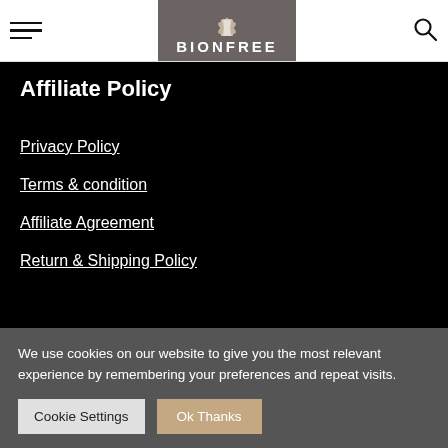BIONFREE
Affiliate Policy
Privacy Policy
Terms & condition
Affiliate Agreement
Return & Shipping Policy
We use cookies on our website to give you the most relevant experience by remembering your preferences and repeat visits.
Cookie Settings  Ok Thanks